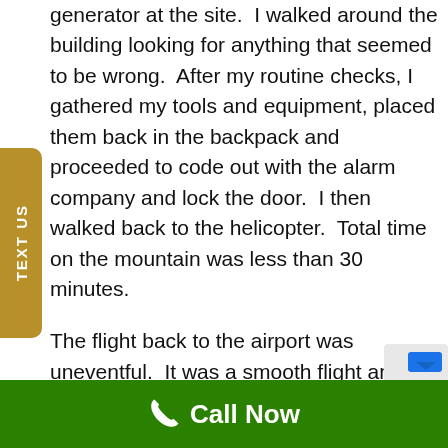generator at the site. I walked around the building looking for anything that seemed to be wrong. After my routine checks, I gathered my tools and equipment, placed them back in the backpack and proceeded to code out with the alarm company and lock the door. I then walked back to the helicopter. Total time on the mountain was less than 30 minutes.
The flight back to the airport was uneventful. It was a smooth flight and landing. I grabbed my backpack and keys and headed back to the car after
Call Now